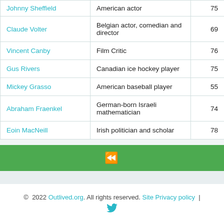| Name | Description | Age |
| --- | --- | --- |
| Johnny Sheffield | American actor | 75 |
| Claude Volter | Belgian actor, comedian and director | 69 |
| Vincent Canby | Film Critic | 76 |
| Gus Rivers | Canadian ice hockey player | 75 |
| Mickey Grasso | American baseball player | 55 |
| Abraham Fraenkel | German-born Israeli mathematician | 74 |
| Eoin MacNeill | Irish politician and scholar | 78 |
© 2022 Outlived.org. All rights reserved. Site Privacy policy |